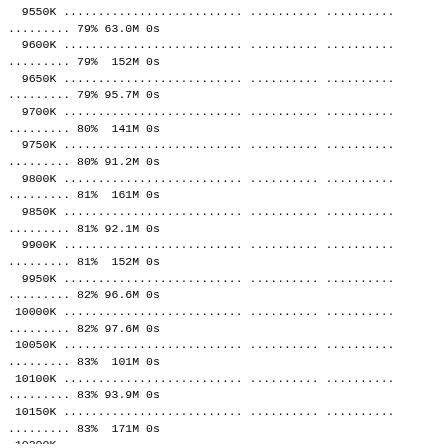9550K .......................... .......... ..........
......... 79% 63.0M 0s
 9600K .......................... .......... ..........
......... 79%  152M 0s
 9650K .......................... .......... ..........
......... 79% 95.7M 0s
 9700K .......................... .......... ..........
......... 80%  141M 0s
 9750K .......................... .......... ..........
......... 80% 91.2M 0s
 9800K .......................... .......... ..........
......... 81%  161M 0s
 9850K .......................... .......... ..........
......... 81% 92.1M 0s
 9900K .......................... .......... ..........
......... 81%  152M 0s
 9950K .......................... .......... ..........
......... 82% 96.6M 0s
10000K .......................... .......... ..........
......... 82% 97.6M 0s
10050K .......................... .......... ..........
......... 83%  101M 0s
10100K .......................... .......... ..........
......... 83% 93.9M 0s
10150K .......................... .......... ..........
......... 83%  171M 0s
10200K .......................... .......... ..........
......... 84% 99.3M 0s
10250K .......................... .......... ..........
......... 84% 98.6M 0s